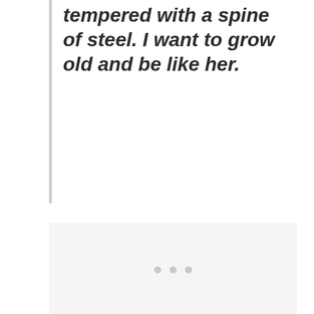tempered with a spine of steel. I want to grow old and be like her.
[Figure (photo): A light gray placeholder image block with three small gray dots centered near the bottom, indicating a loading or carousel image area.]